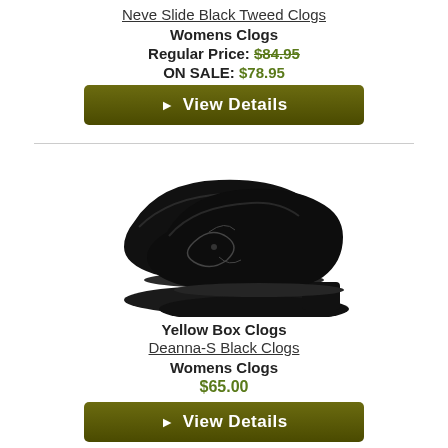Neve Slide Black Tweed Clogs
Womens Clogs
Regular Price: $84.95
ON SALE: $78.95
[Figure (other): Button: View Details (dark olive green rounded rectangle with white bold text and play arrow)]
[Figure (photo): Two black clogs (mules) with embroidered floral design on the vamp, low heel, shown side by side on white background]
Yellow Box Clogs
Deanna-S Black Clogs
Womens Clogs
$65.00
[Figure (other): Button: View Details (dark olive green rounded rectangle with white bold text and play arrow)]